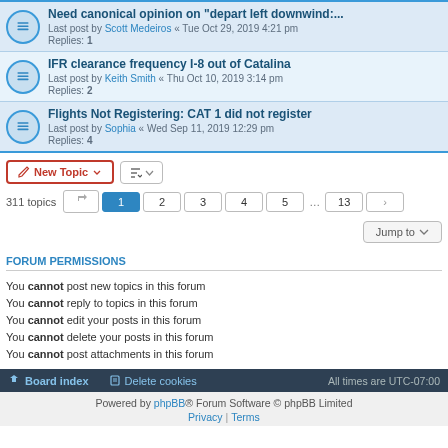Need canonical opinion on 'depart left downwind:...' — Last post by Scott Medeiros « Tue Oct 29, 2019 4:21 pm — Replies: 1
IFR clearance frequency I-8 out of Catalina — Last post by Keith Smith « Thu Oct 10, 2019 3:14 pm — Replies: 2
Flights Not Registering: CAT 1 did not register — Last post by Sophia « Wed Sep 11, 2019 12:29 pm — Replies: 4
New Topic | Sort | 311 topics | Pages: 1 2 3 4 5 ... 13 > | Jump to
FORUM PERMISSIONS
You cannot post new topics in this forum
You cannot reply to topics in this forum
You cannot edit your posts in this forum
You cannot delete your posts in this forum
You cannot post attachments in this forum
Board index | Delete cookies | All times are UTC-07:00 | Powered by phpBB® Forum Software © phpBB Limited | Privacy | Terms